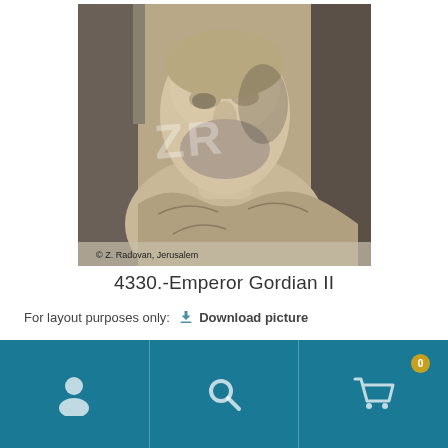[Figure (photo): Marble bust of Emperor Gordian II, a Roman emperor. The sculpture shows a bearded man in classical Roman attire. Watermark 'ZR' visible. Copyright text at bottom: © Z. Radovan, Jerusalem]
4330.-Emperor Gordian II
For layout purposes only:   Download picture
[Figure (other): Navigation footer bar with three teal sections: user/person icon, search/magnifier icon, shopping cart icon with badge '0']